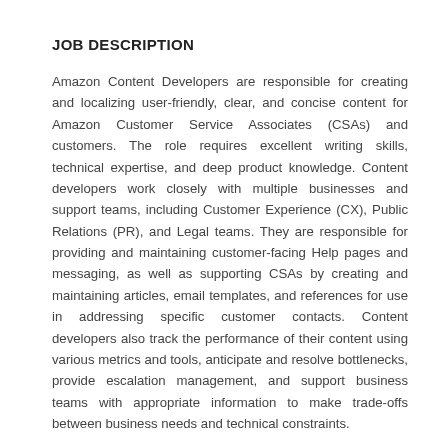JOB DESCRIPTION
Amazon Content Developers are responsible for creating and localizing user-friendly, clear, and concise content for Amazon Customer Service Associates (CSAs) and customers. The role requires excellent writing skills, technical expertise, and deep product knowledge. Content developers work closely with multiple businesses and support teams, including Customer Experience (CX), Public Relations (PR), and Legal teams. They are responsible for providing and maintaining customer-facing Help pages and messaging, as well as supporting CSAs by creating and maintaining articles, email templates, and references for use in addressing specific customer contacts. Content developers also track the performance of their content using various metrics and tools, anticipate and resolve bottlenecks, provide escalation management, and support business teams with appropriate information to make trade-offs between business needs and technical constraints.
Key Responsibilities